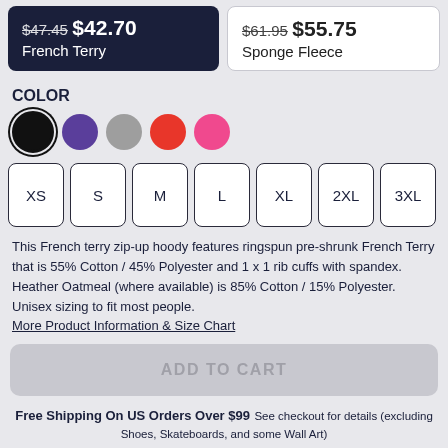$47.45 $42.70 French Terry
$61.95 $55.75 Sponge Fleece
COLOR
[Figure (infographic): Five color swatches: black (selected with ring), purple, gray, red, pink]
[Figure (infographic): Size selector buttons: XS, S, M, L, XL, 2XL, 3XL]
This French terry zip-up hoody features ringspun pre-shrunk French Terry that is 55% Cotton / 45% Polyester and 1 x 1 rib cuffs with spandex. Heather Oatmeal (where available) is 85% Cotton / 15% Polyester. Unisex sizing to fit most people. More Product Information & Size Chart
[Figure (infographic): ADD TO CART button (grayed out/inactive)]
Free Shipping On US Orders Over $99 See checkout for details (excluding Shoes, Skateboards, and some Wall Art)